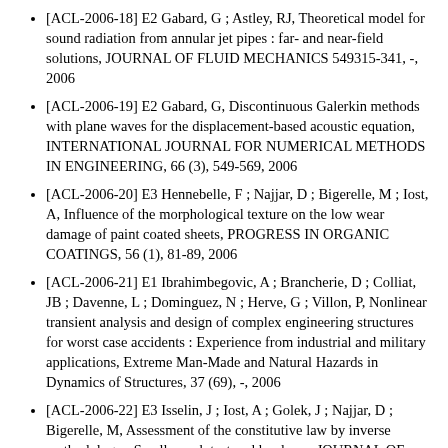[ACL-2006-18] E2 Gabard, G ; Astley, RJ, Theoretical model for sound radiation from annular jet pipes : far- and near-field solutions, JOURNAL OF FLUID MECHANICS 549315-341, -, 2006
[ACL-2006-19] E2 Gabard, G, Discontinuous Galerkin methods with plane waves for the displacement-based acoustic equation, INTERNATIONAL JOURNAL FOR NUMERICAL METHODS IN ENGINEERING, 66 (3), 549-569, 2006
[ACL-2006-20] E3 Hennebelle, F ; Najjar, D ; Bigerelle, M ; Iost, A, Influence of the morphological texture on the low wear damage of paint coated sheets, PROGRESS IN ORGANIC COATINGS, 56 (1), 81-89, 2006
[ACL-2006-21] E1 Ibrahimbegovic, A ; Brancherie, D ; Colliat, JB ; Davenne, L ; Dominguez, N ; Herve, G ; Villon, P, Nonlinear transient analysis and design of complex engineering structures for worst case accidents : Experience from industrial and military applications, Extreme Man-Made and Natural Hazards in Dynamics of Structures, 37 (69), -, 2006
[ACL-2006-22] E3 Isselin, J ; Iost, A ; Golek, J ; Najjar, D ; Bigerelle, M, Assessment of the constitutive law by inverse methodology : Small punch test and hardness, JOURNAL OF NUCLEAR MATERIALS, 352 (1), 97-106, 2006
[ACL-2006-23] E1 Kebir, H ; Roelandt, JM ; Chambon, L,